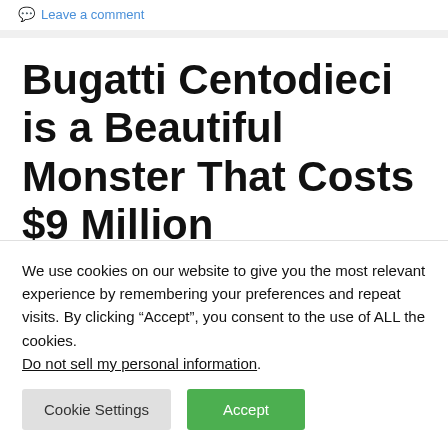Leave a comment
Bugatti Centodieci is a Beautiful Monster That Costs $9 Million
August 18, 2019 by Satriyo
We use cookies on our website to give you the most relevant experience by remembering your preferences and repeat visits. By clicking “Accept”, you consent to the use of ALL the cookies. Do not sell my personal information.